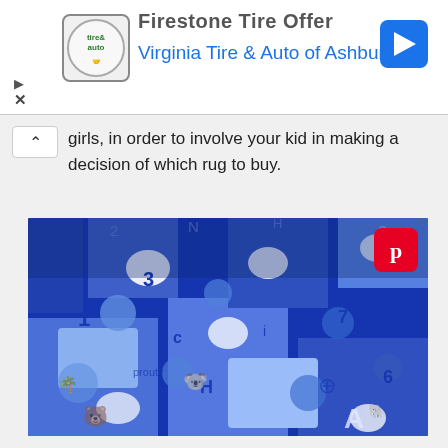[Figure (screenshot): Advertisement banner for Firestone Tire Offer from Virginia Tire & Auto of Ashburn with logo and blue navigation arrow icon]
girls, in order to involve your kid in making a decision of which rug to buy.
[Figure (photo): A blue puzzle-piece style children's rug with letters, numbers, and animal illustrations photographed at an angle, with a Pinterest share icon overlay in the top right corner.]